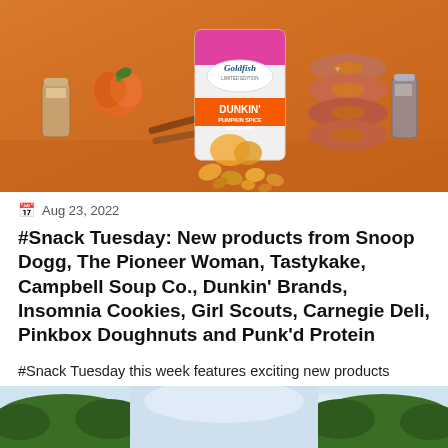[Figure (photo): Product photo on orange background: Goldfish Limited Edition Dunkin' Pumpkin Spice Grahams carton, surrounded by pumpkin donuts stacked, a mini pumpkin, jars of spices, cinnamon sticks, and scattered goldfish crackers.]
Aug 23, 2022
#Snack Tuesday: New products from Snoop Dogg, The Pioneer Woman, Tastykake, Campbell Soup Co., Dunkin' Brands, Insomnia Cookies, Girl Scouts, Carnegie Deli, Pinkbox Doughnuts and Punk'd Protein
#Snack Tuesday this week features exciting new products from...
[Figure (photo): Outdoor scene with trees and sky visible at the bottom of the page, partially cropped.]